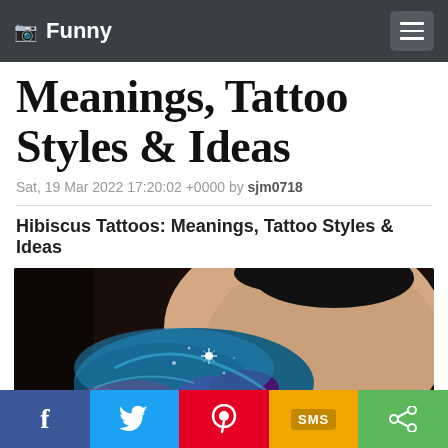Funny
Meanings, Tattoo Styles & Ideas
Sat, 19 Mar 2022 17:20:02 +0000 by sjm0718
Hibiscus Tattoos: Meanings, Tattoo Styles & Ideas
[Figure (photo): Close-up photo of a person's neck/shoulder area with a colorful hibiscus tattoo featuring blue, purple, and red colors with sparkle effects]
f  Twitter  Pinterest  SMS  Share